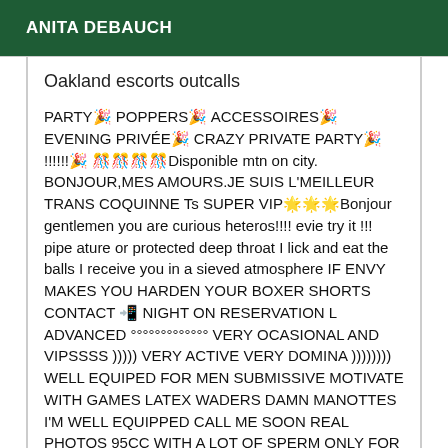ANITA DEBAUCH
Oakland escorts outcalls
PARTY🎉 POPPERS🎉 ACCESSOIRES🎉 EVENING PRIVÉE🎉 CRAZY PRIVATE PARTY🎉 !!!!!!🎉 🎊🎊🎊🎊Disponible mtn on city. BONJOUR,MES AMOURS.JE SUIS L'MEILLEUR TRANS COQUINNE Ts SUPER VIP🌟🌟🌟Bonjour gentlemen you are curious heteros!!!! evie try it !!! pipe ature or protected deep throat I lick and eat the balls I receive you in a sieved atmosphere IF ENVY MAKES YOU HARDEN YOUR BOXER SHORTS CONTACT 📲 NIGHT ON RESERVATION L ADVANCED °°°°°°°°°°°°° VERY OCASIONAL AND VIPSSSS ))))) VERY ACTIVE VERY DOMINA )))))))) WELL EQUIPED FOR MEN SUBMISSIVE MOTIVATE WITH GAMES LATEX WADERS DAMN MANOTTES I'M WELL EQUIPPED CALL ME SOON REAL PHOTOS 95CC WITH A LOT OF SPERM ONLY FOR DISCREET SLAVES AND POLLIS THAT IS LOOKING FOR